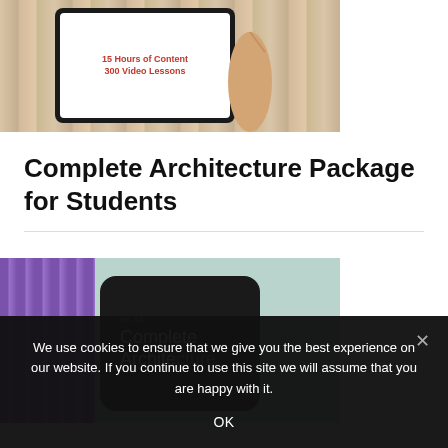[Figure (photo): Hands holding a tablet device showing '300 Video Lessons' on a wooden table background]
Complete Architecture Package for Students
[Figure (photo): Tablet device showing 'Ver. 3.0 Complete Architecture' text on a light blue background with purple vertical stripes on the left]
We use cookies to ensure that we give you the best experience on our website. If you continue to use this site we will assume that you are happy with it.
OK